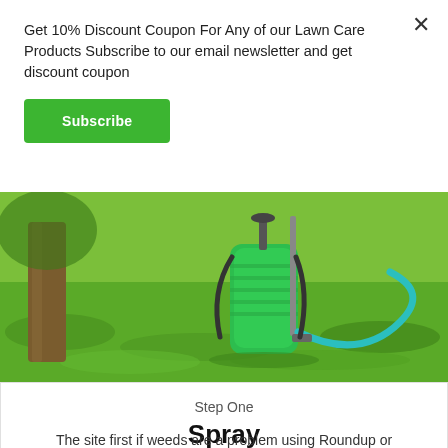Get 10% Discount Coupon For Any of our Lawn Care Products Subscribe to our email newsletter and get discount coupon
Subscribe
[Figure (photo): A green backpack garden sprayer sitting on a green lawn with a tree trunk visible in the background. A teal hose extends from the sprayer tank.]
Step One
Spray
The site first if weeds are a problem using Roundup or